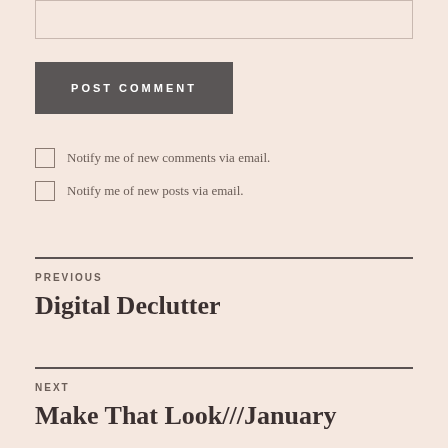POST COMMENT
Notify me of new comments via email.
Notify me of new posts via email.
PREVIOUS
Digital Declutter
NEXT
Make That Look///January